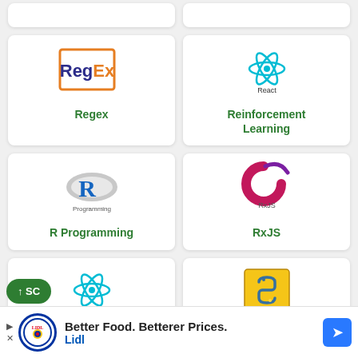[Figure (logo): Partial top row cards (Pandas and React logos, cut off at top)]
[Figure (logo): Regex logo - orange square border with RegEx text]
Regex
[Figure (logo): React logo (cyan atom) with React label]
Reinforcement Learning
[Figure (logo): R Programming logo - blue R with gray oval]
R Programming
[Figure (logo): RxJS logo - magenta circle C shape with RxJS label]
RxJS
[Figure (logo): React Native logo - cyan atom with React Native label]
React Native
[Figure (logo): Python Design Patterns logo - gold square with Python logo]
Python Design
Better Food. Betterer Prices. Lidl